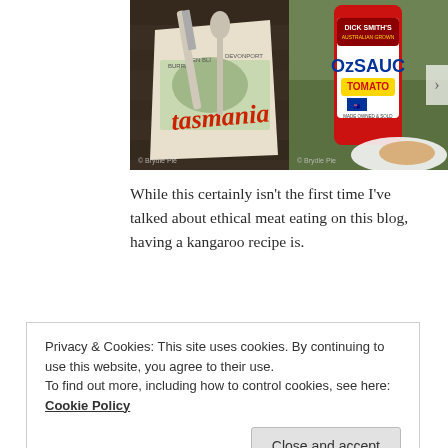[Figure (photo): Two side-by-side photos: left shows a Tasmania souvenir tea towel with knife and spoon on a dark wooden surface, watermarked '© Brydie Pie'; right shows a red bottle of Dick Smith's OzSauce Tomato on a plate with food, watermarked '© Brydie Pie'.]
While this certainly isn't the first time I've talked about ethical meat eating on this blog, having a kangaroo recipe is.
Privacy & Cookies: This site uses cookies. By continuing to use this website, you agree to their use.
To find out more, including how to control cookies, see here: Cookie Policy
Close and accept